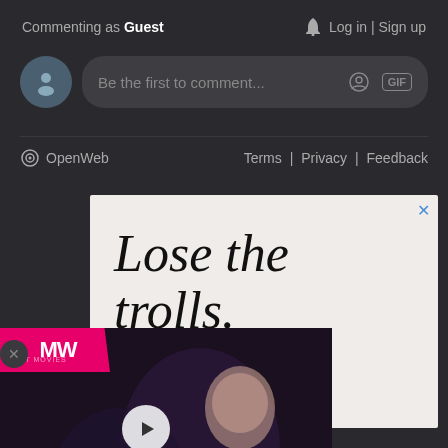Commenting as Guest  🔔  Log in | Sign up
Be the first to comment...
OpenWeb   Terms | Privacy | Feedback
[Figure (screenshot): Advertisement panel with large italic serif text 'Lose the trolls.' and partial text 'e' and 'nts.' visible, light pinkish background, close button X in top right corner]
[Figure (screenshot): Video player overlay showing dark game scene with woman character, MW (Next Movies) logo in pink/magenta top left, play button in center, 'BEST ZOMBIE GAMES' label at bottom in white and pink text]